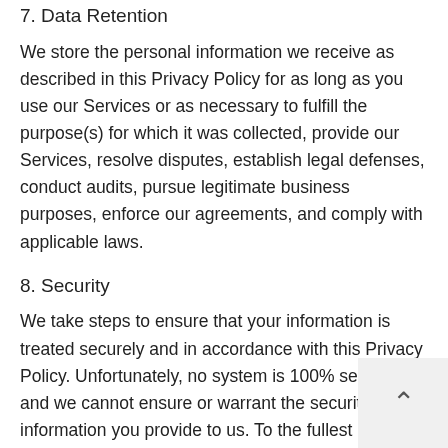7. Data Retention
We store the personal information we receive as described in this Privacy Policy for as long as you use our Services or as necessary to fulfill the purpose(s) for which it was collected, provide our Services, resolve disputes, establish legal defenses, conduct audits, pursue legitimate business purposes, enforce our agreements, and comply with applicable laws.
8. Security
We take steps to ensure that your information is treated securely and in accordance with this Privacy Policy. Unfortunately, no system is 100% secure, and we cannot ensure or warrant the security of any information you provide to us. To the fullest extent permitted by applicable law, we do not accept liability for unintentional discl
By using the Services or providing personal informa to us, you agree that we may communicate with you